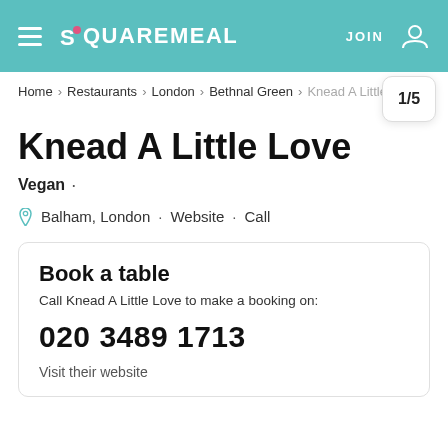SQUAREMEAL  JOIN
Home > Restaurants > London > Bethnal Green > Knead A Little Love
Knead A Little Love
Vegan ·
Balham, London · Website · Call
Book a table
Call Knead A Little Love to make a booking on:
020 3489 1713
Visit their website